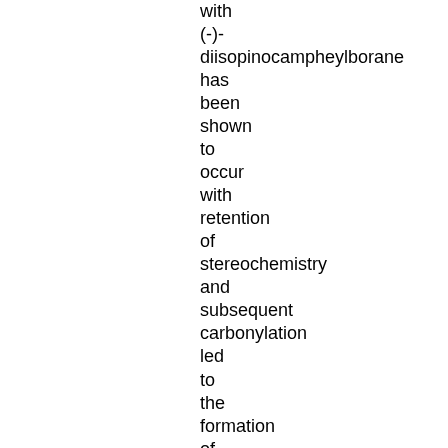with (-)-diisopinocampheylborane has been shown to occur with retention of stereochemistry and subsequent carbonylation led to the formation of asymmetric silacyclohexanones.